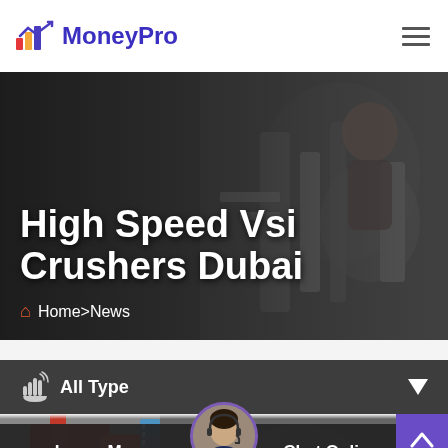MoneyPro
High Speed Vsi Crushers Dubai
Home>News
[Figure (screenshot): Dark industrial background with a worker operating machinery, overlaid with white text title 'High Speed Vsi Crushers Dubai' and breadcrumb navigation 'Home>News']
All Type
[Figure (screenshot): Industrial facility image showing red and grey machinery with a blue sign in the background]
Leave Message
Chat Online